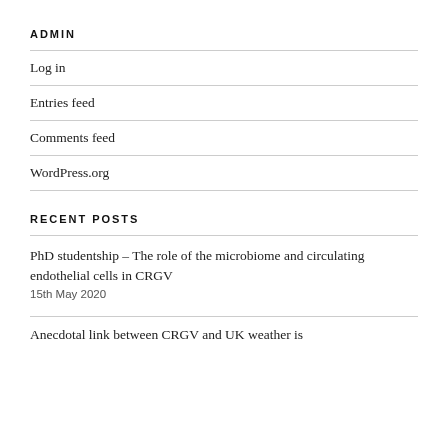ADMIN
Log in
Entries feed
Comments feed
WordPress.org
RECENT POSTS
PhD studentship – The role of the microbiome and circulating endothelial cells in CRGV
15th May 2020
Anecdotal link between CRGV and UK weather is